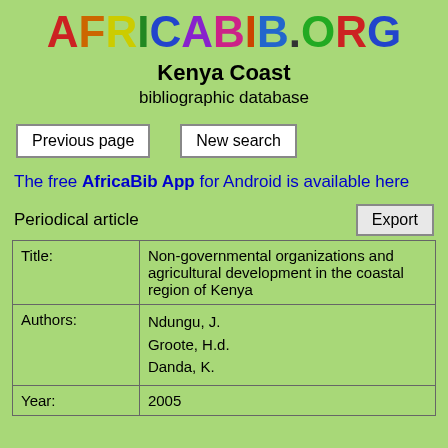AFRICABIB.ORG
Kenya Coast
bibliographic database
Previous page   New search
The free AfricaBib App for Android is available here
Periodical article   Export
| Field | Value |
| --- | --- |
| Title: | Non-governmental organizations and agricultural development in the coastal region of Kenya |
| Authors: | Ndungu, J.
Groote, H.d.
Danda, K. |
| Year: | 2005 |